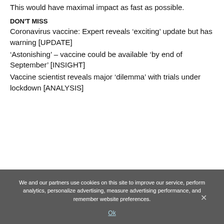This would have maximal impact as fast as possible.
DON'T MISS
Coronavirus vaccine: Expert reveals ‘exciting’ update but has warning [UPDATE]
‘Astonishing’ – vaccine could be available ‘by end of September’ [INSIGHT]
Vaccine scientist reveals major ‘dilemma’ with trials under lockdown [ANALYSIS]
We and our partners use cookies on this site to improve our service, perform analytics, personalize advertising, measure advertising performance, and remember website preferences.
Ok